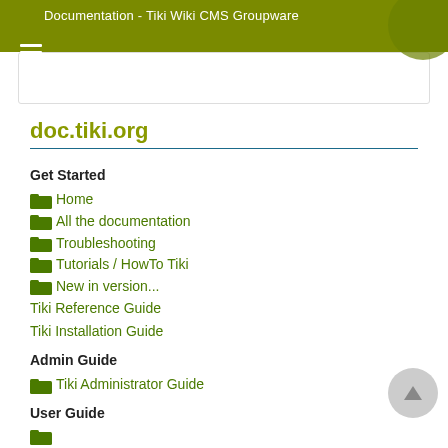Documentation - Tiki Wiki CMS Groupware
doc.tiki.org
Get Started
Home
All the documentation
Troubleshooting
Tutorials / HowTo Tiki
New in version...
Tiki Reference Guide
Tiki Installation Guide
Admin Guide
Tiki Administrator Guide
User Guide